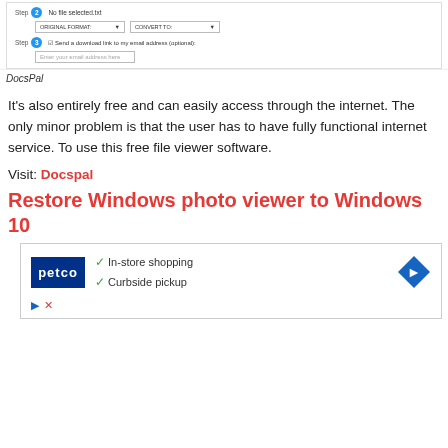[Figure (screenshot): Screenshot of a web tool (DocsPal) showing Step 2 with file name, Original Format dropdown, Convert To dropdown, and Step 3 with email address option and input field.]
DocsPal
It's also entirely free and can easily access through the internet. The only minor problem is that the user has to have fully functional internet service. To use this free file viewer software.
Visit: Docspal
Restore Windows photo viewer to Windows 10
[Figure (screenshot): Advertisement for Petco showing In-store shopping and Curbside pickup checkmarks, Petco logo, and a blue diamond arrow icon, with play and close buttons at the bottom.]